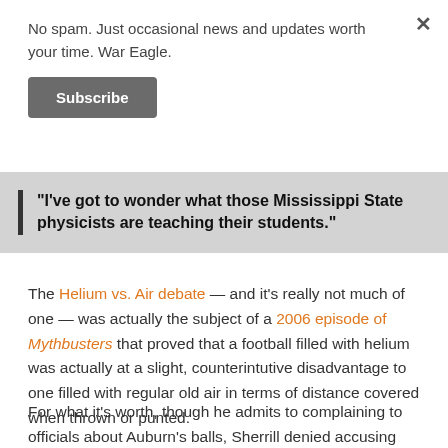No spam. Just occasional news and updates worth your time. War Eagle.
Subscribe
"I've got to wonder what those Mississippi State physicists are teaching their students."
The Helium vs. Air debate — and it's really not much of one — was actually the subject of a 2006 episode of Mythbusters that proved that a football filled with helium was actually at a slight, counterintutive disadvantage to one filled with regular old air in terms of distance covered when thrown or punted.
For what it's worth, though he admits to complaining to officials about Auburn's balls, Sherrill denied accusing